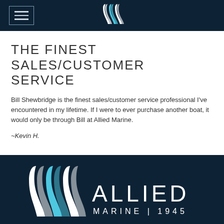[Figure (logo): Allied Marine logo mark - stylized overlapping wave/chevron shapes in white and cyan/teal on dark navy header]
THE FINEST SALES/CUSTOMER SERVICE
Bill Shewbridge is the finest sales/customer service professional I've encountered in my lifetime. If I were to ever purchase another boat, it would only be through Bill at Allied Marine.
~Kevin H.
[Figure (logo): Allied Marine full logo with wave mark in white and cyan, and text ALLIED MARINE | 1945 in white on dark navy background]